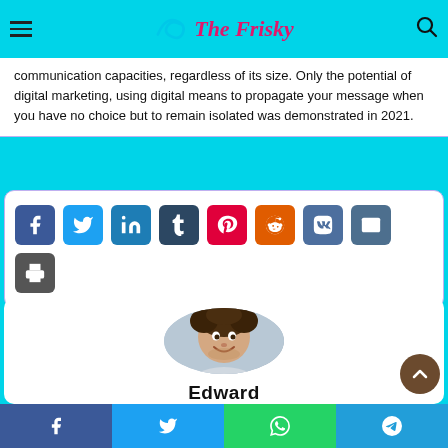The Frisky
communication capacities, regardless of its size. Only the potential of digital marketing, using digital means to propagate your message when you have no choice but to remain isolated was demonstrated in 2021.
[Figure (infographic): Social media share buttons: Facebook, Twitter, LinkedIn, Tumblr, Pinterest, Reddit, VK, Email, Print]
[Figure (photo): Circular profile photo of a smiling young man with curly brown hair]
Edward
Facebook, Twitter, WhatsApp, Telegram share buttons